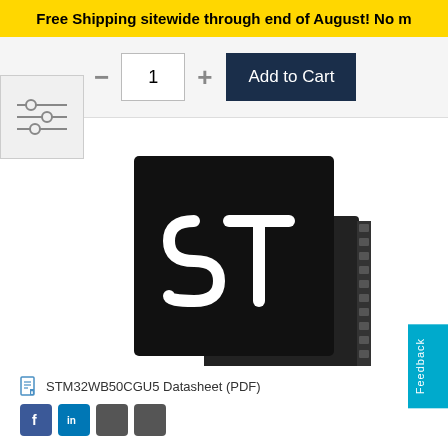Free Shipping sitewide through end of August! No m
[Figure (screenshot): Quantity selector with minus button, input box showing 1, plus button, and Add to Cart dark navy button]
[Figure (screenshot): Filter/sliders widget icon on left side]
[Figure (photo): STMicroelectronics IC chip product image - black chip package with ST logo shown from top-angled view with QFN package pins visible]
STM32WB50CGU5 Datasheet (PDF)
[Figure (screenshot): Social sharing buttons: Facebook, LinkedIn, Twitter, Email]
Feedback